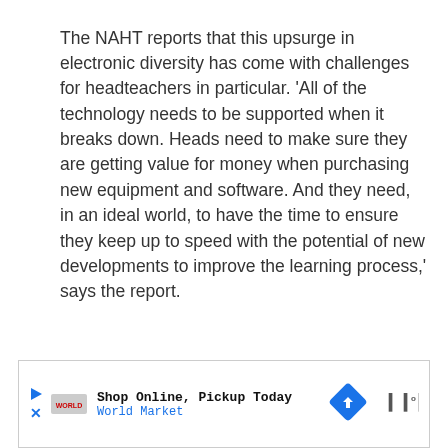The NAHT reports that this upsurge in electronic diversity has come with challenges for headteachers in particular. 'All of the technology needs to be supported when it breaks down. Heads need to make sure they are getting value for money when purchasing new equipment and software. And they need, in an ideal world, to have the time to ensure they keep up to speed with the potential of new developments to improve the learning process,' says the report.
[Figure (infographic): Advertisement banner: Shop Online, Pickup Today - World Market, with play button, close button, logo, blue diamond arrow icon, and brand mark]